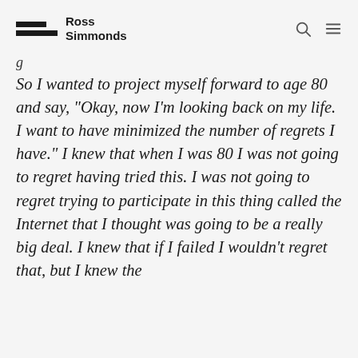Ross Simmonds
So I wanted to project myself forward to age 80 and say, “Okay, now I’m looking back on my life. I want to have minimized the number of regrets I have.” I knew that when I was 80 I was not going to regret having tried this. I was not going to regret trying to participate in this thing called the Internet that I thought was going to be a really big deal. I knew that if I failed I wouldn’t regret that, but I knew the